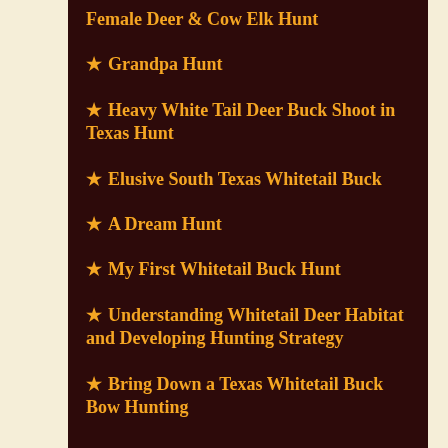Female Deer & Cow Elk Hunt
★ Grandpa Hunt
★ Heavy White Tail Deer Buck Shoot in Texas Hunt
★ Elusive South Texas Whitetail Buck
★ A Dream Hunt
★ My First Whitetail Buck Hunt
★ Understanding Whitetail Deer Habitat and Developing Hunting Strategy
★ Bring Down a Texas Whitetail Buck Bow Hunting